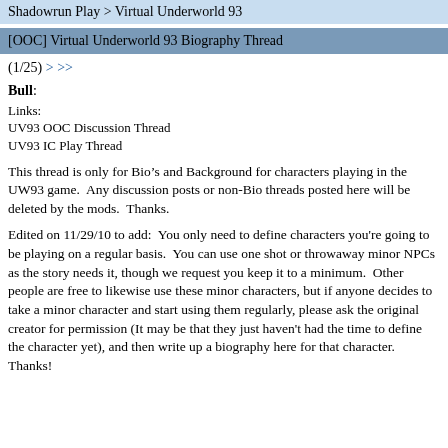Shadowrun Play > Virtual Underworld 93
[OOC] Virtual Underworld 93 Biography Thread
(1/25) > >>
Bull:
Links:
UV93 OOC Discussion Thread
UV93 IC Play Thread
This thread is only for Bio’s and Background for characters playing in the UW93 game.  Any discussion posts or non-Bio threads posted here will be deleted by the mods.  Thanks.
Edited on 11/29/10 to add:  You only need to define characters you're going to be playing on a regular basis.  You can use one shot or throwaway minor NPCs as the story needs it, though we request you keep it to a minimum.  Other people are free to likewise use these minor characters, but if anyone decides to take a minor character and start using them regularly, please ask the original creator for permission (It may be that they just haven't had the time to define the character yet), and then write up a biography here for that character.  Thanks!